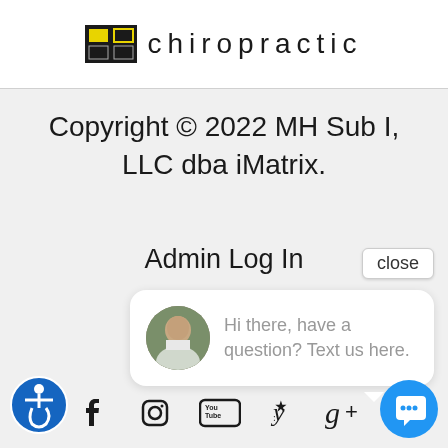[Figure (logo): Chiropractic clinic logo with stylized square icon and 'chiropractic' text]
Copyright © 2022 MH Sub I, LLC dba iMatrix.
Admin Log In
close
[Figure (photo): Chat bubble with avatar photo of a man and text: Hi there, have a question? Text us here.]
[Figure (infographic): Social media icons: Facebook, Instagram, YouTube, Yelp, Google+]
[Figure (infographic): Accessibility icon (blue circle with wheelchair symbol)]
[Figure (infographic): Blue chat FAB button with speech bubble icon]